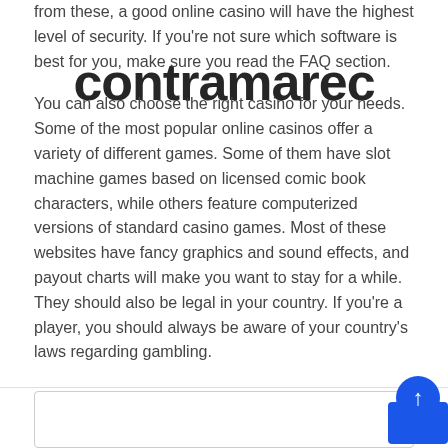from these, a good online casino will have the highest level of security. If you're not sure which software is best for you, make sure you read the FAQ section.
You can also choose the right casino for your needs. Some of the most popular online casinos offer a variety of different games. Some of them have slot machine games based on licensed comic book characters, while others feature computerized versions of standard casino games. Most of these websites have fancy graphics and sound effects, and payout charts will make you want to stay for a while. They should also be legal in your country. If you're a player, you should always be aware of your country's laws regarding gambling.